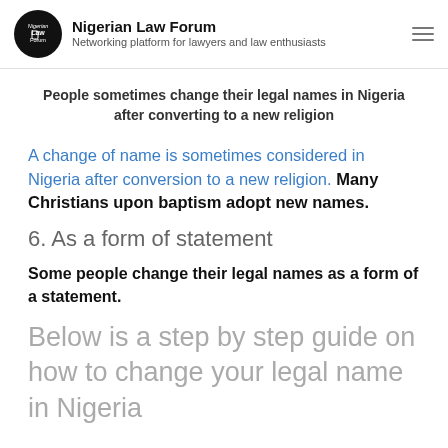Nigerian Law Forum — Networking platform for lawyers and law enthusiasts
People sometimes change their legal names in Nigeria after converting to a new religion
A change of name is sometimes considered in Nigeria after conversion to a new religion. Many Christians upon baptism adopt new names.
6. As a form of statement
Some people change their legal names as a form of a statement.
Below is a step by step guide on how to change your legal name in Nigeria